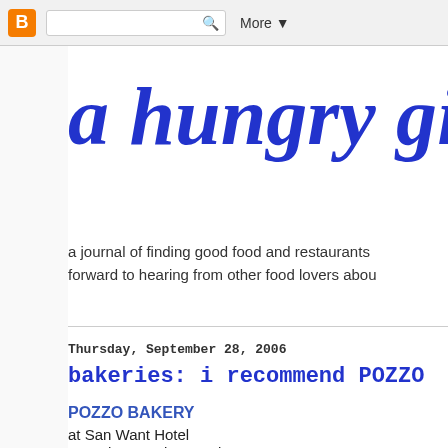Blogger navigation bar with icon, search box, and More button
a hungry girl'
a journal of finding good food and restaurants forward to hearing from other food lovers abou
Thursday, September 28, 2006
bakeries: i recommend POZZO
POZZO BAKERY
at San Want Hotel
172 Chung Hsiao E Rd, Sec 4